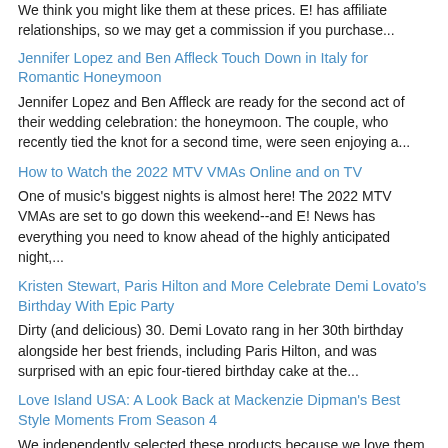We think you might like them at these prices. E! has affiliate relationships, so we may get a commission if you purchase...
Jennifer Lopez and Ben Affleck Touch Down in Italy for Romantic Honeymoon
Jennifer Lopez and Ben Affleck are ready for the second act of their wedding celebration: the honeymoon. The couple, who recently tied the knot for a second time, were seen enjoying a...
How to Watch the 2022 MTV VMAs Online and on TV
One of music's biggest nights is almost here! The 2022 MTV VMAs are set to go down this weekend--and E! News has everything you need to know ahead of the highly anticipated night,...
Kristen Stewart, Paris Hilton and More Celebrate Demi Lovato’s Birthday With Epic Party
Dirty (and delicious) 30. Demi Lovato rang in her 30th birthday alongside her best friends, including Paris Hilton, and was surprised with an epic four-tiered birthday cake at the...
Love Island USA: A Look Back at Mackenzie Dipman's Best Style Moments From Season 4
We independently selected these products because we love them, and we think you might like them at these prices. E! has affiliate